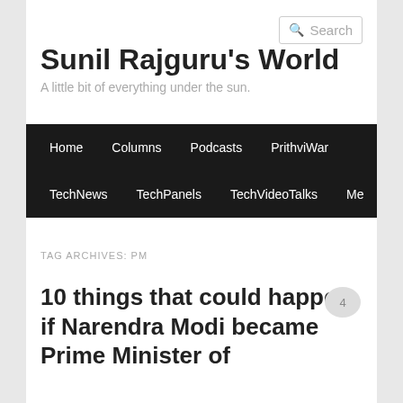Search
Sunil Rajguru's World
A little bit of everything under the sun.
Home  Columns  Podcasts  PrithviWar  TechNews  TechPanels  TechVideoTalks  Me
TAG ARCHIVES: PM
10 things that could happen if Narendra Modi became Prime Minister of